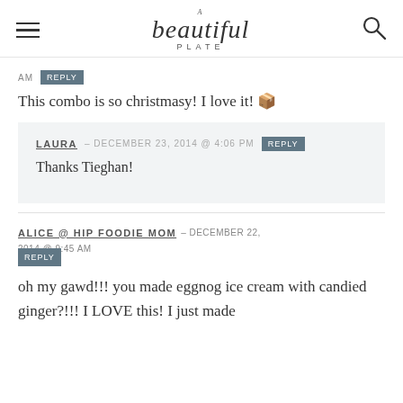A Beautiful Plate
AM
This combo is so christmasy! I love it! 🎄
LAURA – DECEMBER 23, 2014 @ 4:06 PM
Thanks Tieghan!
ALICE @ HIP FOODIE MOM – DECEMBER 22, 2014 @ 9:45 AM
oh my gawd!!! you made eggnog ice cream with candied ginger?!!! I LOVE this! I just made